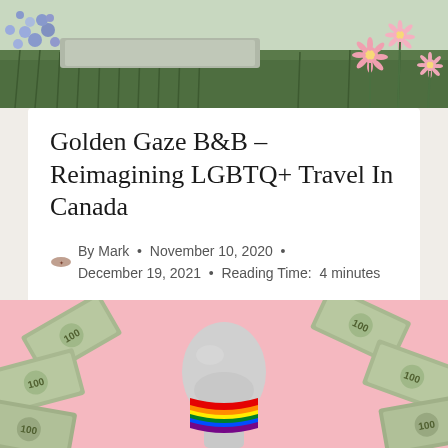[Figure (photo): Outdoor garden scene with green grass, blue flowers on the left, and pink daisy-like flowers on the right, with a stone or concrete element visible]
Golden Gaze B&B – Reimagining LGBTQ+ Travel In Canada
By Mark • November 10, 2020 • December 19, 2021 • Reading Time: 4 minutes
[Figure (photo): Pink background with scattered US $100 dollar bills around the edges and a grey mannequin head wearing a rainbow pride face mask in the center]